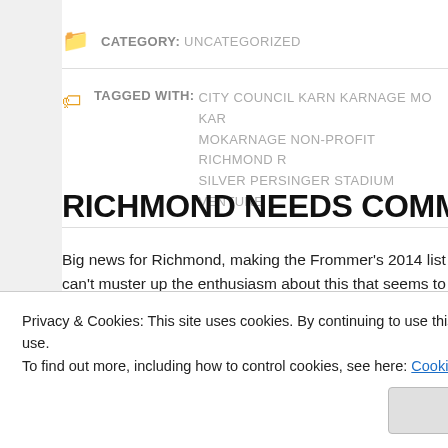CATEGORY: UNCATEGORIZED
TAGGED WITH: CITY COUNCIL KARN KARNAGE MO KAR MOKARNAGE NON-PROFIT RICHMOND R SILVER PERSINGER STADIUM VENTURE
RICHMOND NEEDS COMMUNITY
Big news for Richmond, making the Frommer's 2014 list... can't muster up the enthusiasm about this that seems to... response. 2014 is the 150th anniversary of many battles...
Privacy & Cookies: This site uses cookies. By continuing to use this website, you agree to their use.
To find out more, including how to control cookies, see here: Cookie Policy
Richmond got cool – really makes me mad.